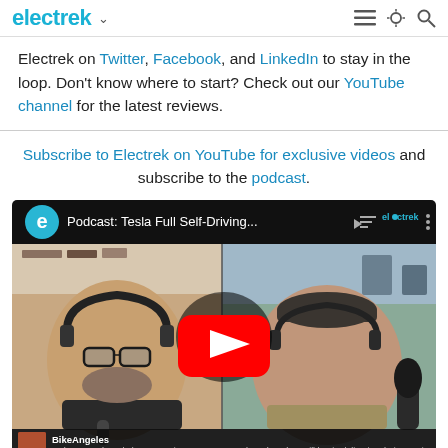electrek
Electrek on Twitter, Facebook, and LinkedIn to stay in the loop. Don't know where to start? Check out our YouTube channel for the latest reviews.
Subscribe to Electrek on YouTube for exclusive videos and subscribe to the podcast.
[Figure (screenshot): YouTube embedded video player showing Electrek podcast titled 'Podcast: Tesla Full Self-Driving...' with two podcast hosts visible. A red YouTube play button is overlaid in the center. A comment from BikeAngeles is visible at the bottom asking about Imperium Motors SUV deliveries in North America.]